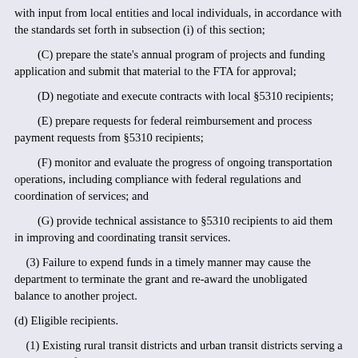with input from local entities and local individuals, in accordance with the standards set forth in subsection (i) of this section;
(C) prepare the state's annual program of projects and funding application and submit that material to the FTA for approval;
(D) negotiate and execute contracts with local §5310 recipients;
(E) prepare requests for federal reimbursement and process payment requests from §5310 recipients;
(F) monitor and evaluate the progress of ongoing transportation operations, including compliance with federal regulations and coordination of services; and
(G) provide technical assistance to §5310 recipients to aid them in improving and coordinating transit services.
(3) Failure to expend funds in a timely manner may cause the department to terminate the grant and re-award the unobligated balance to another project.
(d) Eligible recipients.
(1) Existing rural transit districts and urban transit districts serving a population of less than 200,000, local public entities,